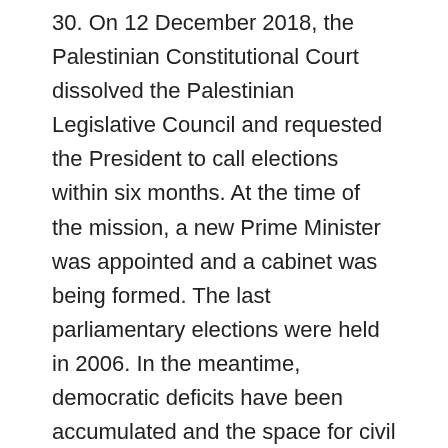30. On 12 December 2018, the Palestinian Constitutional Court dissolved the Palestinian Legislative Council and requested the President to call elections within six months. At the time of the mission, a new Prime Minister was appointed and a cabinet was being formed. The last parliamentary elections were held in 2006. In the meantime, democratic deficits have been accumulated and the space for civil society has shrunk.
31. The future of the social insurance scheme is currently uncertain. …